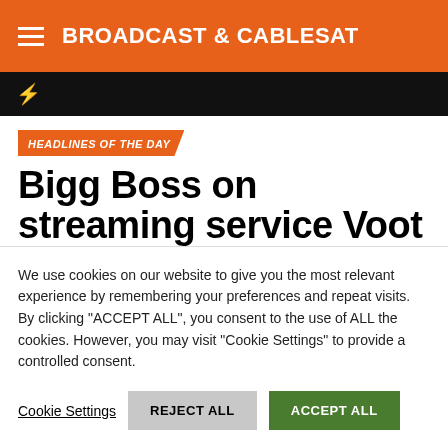BROADCAST & CABLESAT
HEADLINES OF THE DAY
Bigg Boss on streaming service Voot boosts viewership, ad revenue
We use cookies on our website to give you the most relevant experience by remembering your preferences and repeat visits. By clicking "ACCEPT ALL", you consent to the use of ALL the cookies. However, you may visit "Cookie Settings" to provide a controlled consent.